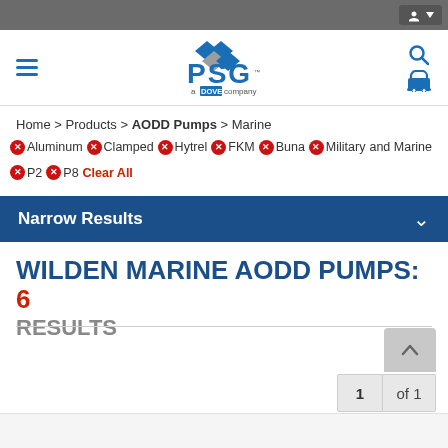PSG a Dover company — navigation header with hamburger menu, PSG logo, search and cart icons
Home > Products > AODD Pumps > Marine
✕ Aluminum  ✕ Clamped  ✕ Hytrel  ✕ FKM  ✕ Buna  ✕ Military and Marine  ✕ P2  ✕ P8  Clear All
Narrow Results
WILDEN MARINE AODD PUMPS: 6 RESULTS
1 of 1